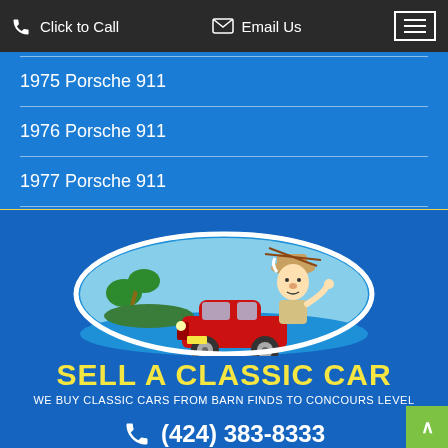Click to Call | Email Us
1975 Porsche 911
1976 Porsche 911
1977 Porsche 911
[Figure (logo): Sell A Classic Car logo: oval shape with cartoon old man driving red classic car, palm trees and beach background]
SELL A CLASSIC CAR
WE BUY CLASSIC CARS FROM BARN FINDS TO CONCOURS LEVEL
(424) 383-8333